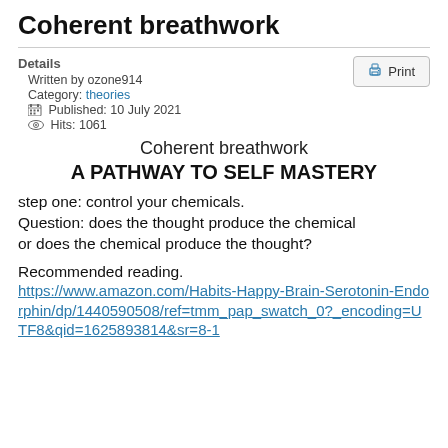Coherent breathwork
Details
Written by ozone914
Category: theories
Published: 10 July 2021
Hits: 1061
Coherent breathwork
A PATHWAY TO SELF MASTERY
step one: control your chemicals.
Question: does the thought produce the chemical or does the chemical produce the thought?
Recommended reading.
https://www.amazon.com/Habits-Happy-Brain-Serotonin-Endorphin/dp/1440590508/ref=tmm_pap_swatch_0?_encoding=UTF8&qid=1625893814&sr=8-1